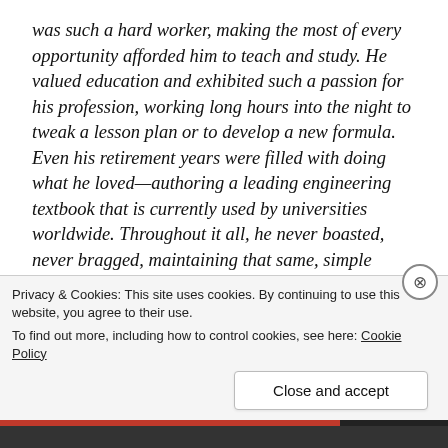was such a hard worker, making the most of every opportunity afforded him to teach and study. He valued education and exhibited such a passion for his profession, working long hours into the night to tweak a lesson plan or to develop a new formula. Even his retirement years were filled with doing what he loved—authoring a leading engineering textbook that is currently used by universities worldwide. Throughout it all, he never boasted, never bragged, maintaining that same, simple humble servant spirit he exhibited while filling drink cups at Wednesday night church dinners.
Privacy & Cookies: This site uses cookies. By continuing to use this website, you agree to their use.
To find out more, including how to control cookies, see here: Cookie Policy
Close and accept